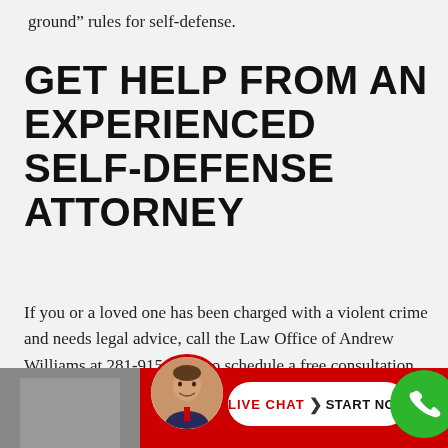ground” rules for self-defense.
GET HELP FROM AN EXPERIENCED SELF-DEFENSE ATTORNEY
If you or a loved one has been charged with a violent crime and needs legal advice, call the Law Office of Andrew Williams at 281-915-4053 to schedule a free consultation. Our phones are answered 24/7.
[Figure (other): Bottom chat bar with attorney photo avatar, Live Chat button, and green phone icon circle on red background]